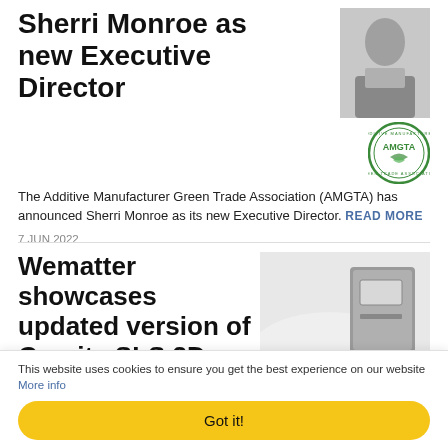Sherri Monroe as new Executive Director
[Figure (photo): Photo of Sherri Monroe and AMGTA green trade association logo]
The Additive Manufacturer Green Trade Association (AMGTA) has announced Sherri Monroe as its new Executive Director. READ MORE
7 JUN 2022
Wematter showcases updated version of Gravity SLS 3D printing system at FORMNEXT
[Figure (photo): Wematter Gravity SLS 3D printing system machine photo]
This website uses cookies to ensure you get the best experience on our website More info
Got it!